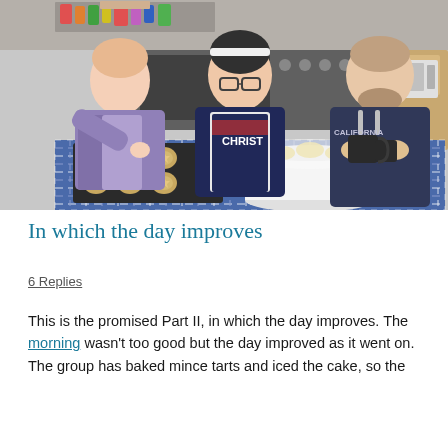[Figure (photo): Three people standing behind a table with a blue and white checkered tablecloth in a kitchen. On the table are a mince tart baking tray and a white iced cake on a plate. The person on the left is leaning over the tray, the person in the middle is wearing an apron, and the person on the right is holding a dark mug and wearing a California hoodie.]
In which the day improves
6 Replies
This is the promised Part II, in which the day improves. The morning wasn't too good but the day improved as it went on. The group has baked mince tarts and iced the cake, so the